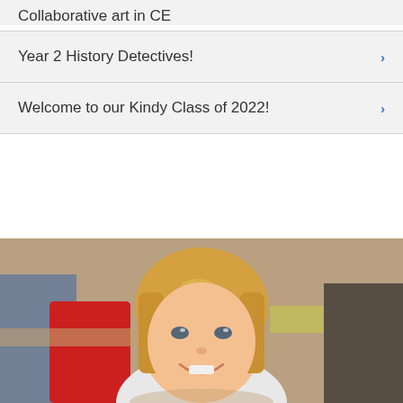Collaborative art in CE
Year 2 History Detectives!
Welcome to our Kindy Class of 2022!
[Figure (photo): A smiling young blonde girl in a white shirt in a classroom setting with colorful classroom furniture and other students blurred in the background.]